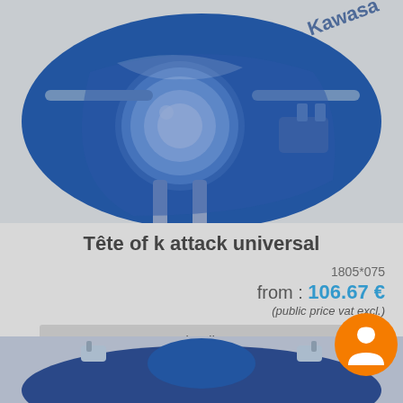[Figure (photo): Close-up photo of a Kawasaki motorcycle front headlight and handlebars, blue-colored motorcycle]
Tête of k attack universal
1805*075
from : 106.67 €
(public price vat excl.)
details
[Figure (photo): Bottom partial view of another motorcycle, partially cropped]